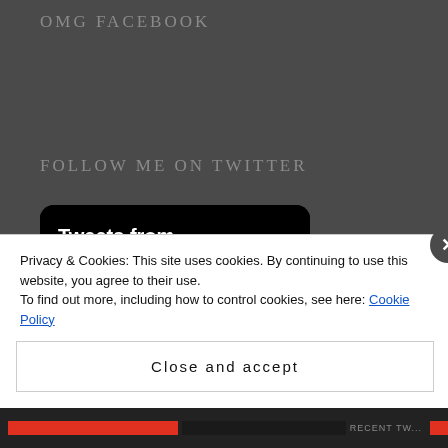OMG FACEBOOK
FOLLOW ME ON TWITTER
[Figure (screenshot): Twitter widget showing 'Tweets from @Omgitsjustdae' header in black, followed by a retweet row 'Daè Retweeted' and user row with avatar 'Joshua C...' and Twitter bird icon]
Privacy & Cookies: This site uses cookies. By continuing to use this website, you agree to their use. To find out more, including how to control cookies, see here: Cookie Policy
Close and accept